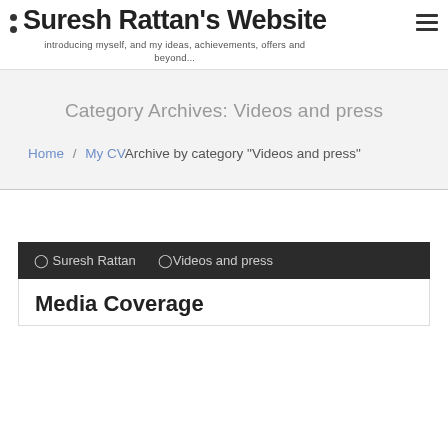Suresh Rattan's Website — introducing myself, and my ideas, achievements, offers and beyond...
Category Archives: Videos and press
Home / My CV Archive by category "Videos and press"
Suresh Rattan  Videos and press
Media Coverage